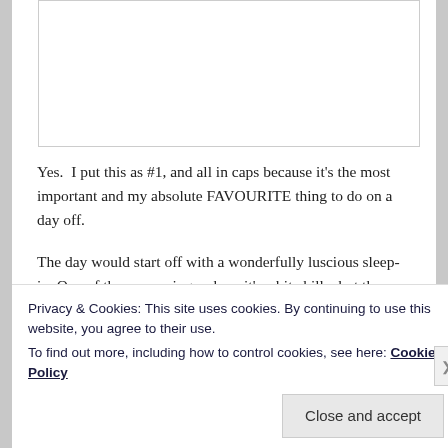[Figure (photo): White rectangular image placeholder area with light border]
Yes.  I put this as #1, and all in caps because it's the most important and my absolute FAVOURITE thing to do on a day off.
The day would start off with a wonderfully luscious sleep-in. One of those mornings where it's a bit chilly, but the sun is warm, and beaming in through a bedroom window, and you wish it was possible for these already fluffy pillows and doona just to get that little bit fluffier and softer, so you could just disappear into them for a couple
Privacy & Cookies: This site uses cookies. By continuing to use this website, you agree to their use.
To find out more, including how to control cookies, see here: Cookie Policy
Close and accept